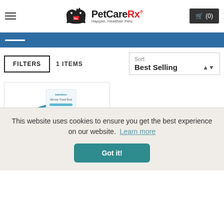PetCareRx - Happier, Healthier Pets
[Figure (screenshot): Blue filter/menu bar with white minus icon]
FILTERS   1 ITEMS
Sort
Best Selling
[Figure (photo): Bamboo silicone travel bowl product image in blue circular packaging]
This website uses cookies to ensure you get the best experience on our website.  Learn more
Got it!